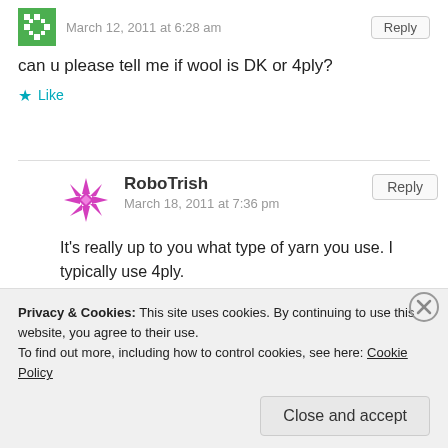March 12, 2011 at 6:28 am
can u please tell me if wool is DK or 4ply?
Like
RoboTrish
March 18, 2011 at 7:36 pm
It's really up to you what type of yarn you use. I typically use 4ply.
Like
Privacy & Cookies: This site uses cookies. By continuing to use this website, you agree to their use.
To find out more, including how to control cookies, see here: Cookie Policy
Close and accept